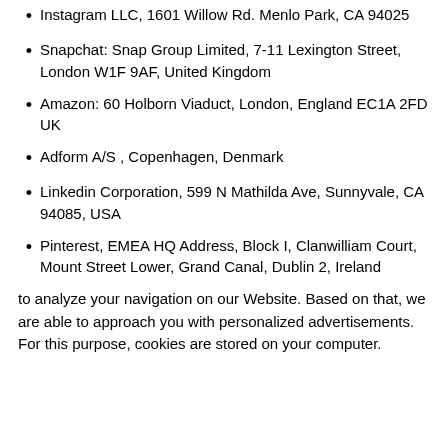Instagram LLC, 1601 Willow Rd. Menlo Park, CA 94025
Snapchat: Snap Group Limited, 7-11 Lexington Street, London W1F 9AF, United Kingdom
Amazon: 60 Holborn Viaduct, London, England EC1A 2FD UK
Adform A/S , Copenhagen, Denmark
Linkedin Corporation, 599 N Mathilda Ave, Sunnyvale, CA 94085, USA
Pinterest, EMEA HQ Address, Block I, Clanwilliam Court, Mount Street Lower, Grand Canal, Dublin 2, Ireland
to analyze your navigation on our Website. Based on that, we are able to approach you with personalized advertisements. For this purpose, cookies are stored on your computer.